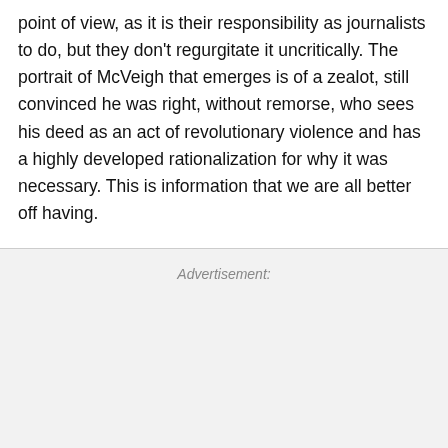point of view, as it is their responsibility as journalists to do, but they don't regurgitate it uncritically. The portrait of McVeigh that emerges is of a zealot, still convinced he was right, without remorse, who sees his deed as an act of revolutionary violence and has a highly developed rationalization for why it was necessary. This is information that we are all better off having.
Advertisement: